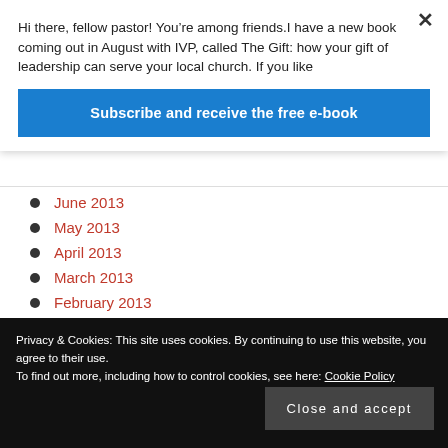Hi there, fellow pastor! You’re among friends.I have a new book coming out in August with IVP, called The Gift: how your gift of leadership can serve your local church. If you like
Subscribe and receive the free e-book
June 2013
May 2013
April 2013
March 2013
February 2013
January 2013
August 2012
Privacy & Cookies: This site uses cookies. By continuing to use this website, you agree to their use.
To find out more, including how to control cookies, see here: Cookie Policy
Close and accept